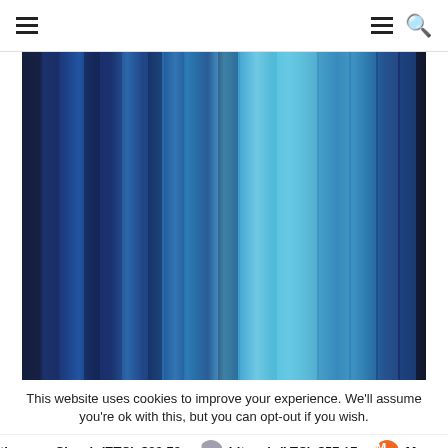Navigation header with hamburger menu and search icon
[Figure (illustration): Abstract blurred vertical stripes in shades of blue, ranging from dark navy to light cyan and medium blue, creating a colorful bokeh/light streak effect.]
This website uses cookies to improve your experience. We'll assume you're ok with this, but you can opt-out if you wish.
Ethereum Classic(ETC) $32.73  Litecoin(LTC) $57.17  M...